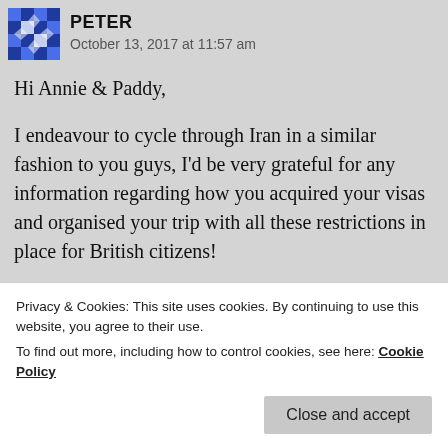[Figure (illustration): Blue pixel/geometric pattern avatar icon for user Peter]
PETER
October 13, 2017 at 11:57 am
Hi Annie & Paddy,

I endeavour to cycle through Iran in a similar fashion to you guys, I'd be very grateful for any information regarding how you acquired your visas and organised your trip with all these restrictions in place for British citizens!

Many thanks,
Privacy & Cookies: This site uses cookies. By continuing to use this website, you agree to their use.
To find out more, including how to control cookies, see here: Cookie Policy
Close and accept